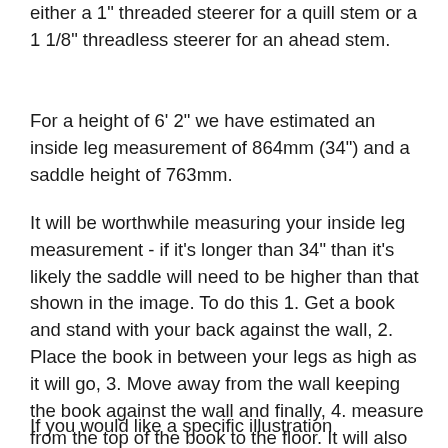either a 1" threaded steerer for a quill stem or a 1 1/8" threadless steerer for an ahead stem.
For a height of 6' 2" we have estimated an inside leg measurement of 864mm (34") and a saddle height of 763mm.
It will be worthwhile measuring your inside leg measurement - if it's longer than 34" than it's likely the saddle will need to be higher than that shown in the image. To do this 1. Get a book and stand with your back against the wall, 2. Place the book in between your legs as high as it will go, 3. Move away from the wall keeping the book against the wall and finally, 4. measure from the top of the book to the floor. It will also be useful to measure the saddle height (bottom bracket centre to the top of the saddle) on your current bike and compare it against the illustrations.
If you would like a specific illustration about your current saddle height...